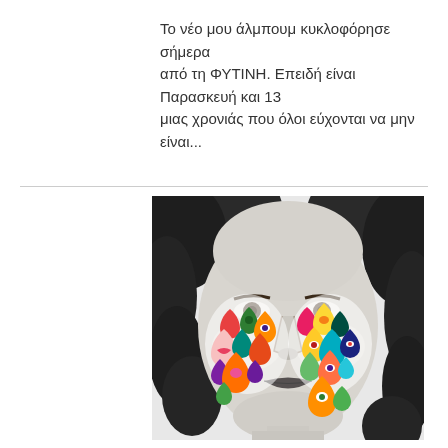Το νέο μου άλμπουμ κυκλοφόρησε σήμερα από τη ΦΥΤΙΝΗ. Επειδή είναι Παρασκευή και 13 μιας χρονιάς που όλοι εύχονται να μην είναι...
[Figure (photo): Black and white portrait photo of a woman with dark curly hair, with colorful illustrated teardrop shapes overlaid on her cheeks, each teardrop containing bright colors and patterns.]